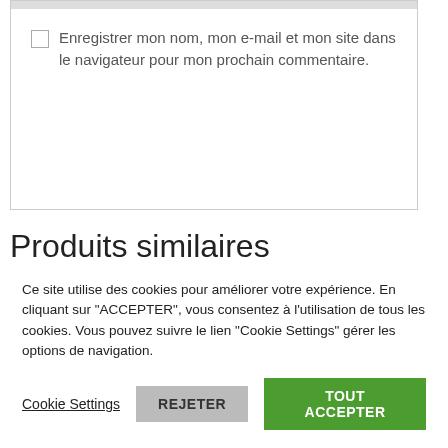Enregistrer mon nom, mon e-mail et mon site dans le navigateur pour mon prochain commentaire.
Produits similaires
Ce site utilise des cookies pour améliorer votre expérience. En cliquant sur "ACCEPTER", vous consentez à l'utilisation de tous les cookies. Vous pouvez suivre le lien "Cookie Settings" gérer les options de navigation.